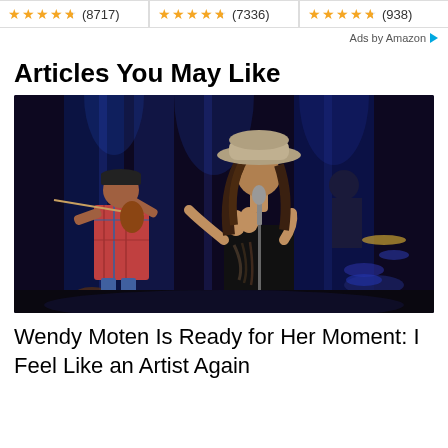[Figure (other): Three Amazon ad items each showing star ratings: (8717), (7336), (938)]
Ads by Amazon
Articles You May Like
[Figure (photo): Concert photo showing a woman in a wide-brim hat singing at a microphone, and a man in a plaid shirt playing violin on the left, on a blue-lit stage]
Wendy Moten Is Ready for Her Moment: I Feel Like an Artist Again